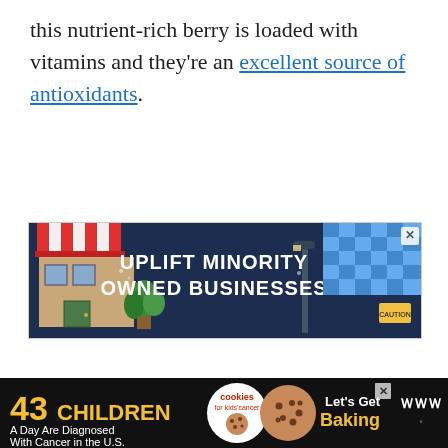this nutrient-rich berry is loaded with vitamins and they're an excellent source of antioxidants.
[Figure (infographic): Advertisement banner: 'UPLIFT MINORITY OWNED BUSINESSES' with a storefront illustration on the left, dark blue background with text in center, checkered pattern on right, and a close button (X)]
[Figure (infographic): Bottom advertisement banner on black background: '43 CHILDREN A Day Are Diagnosed With Cancer in the U.S.' with Cookies for Kids' Cancer logo, a cookie image, 'Let's Get Baking' text, a close button, and Turnstile logo on the right]